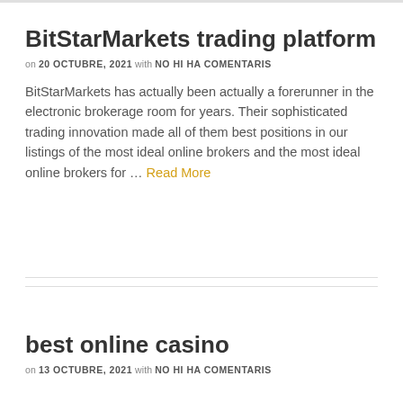BitStarMarkets trading platform
on 20 OCTUBRE, 2021 with NO HI HA COMENTARIS
BitStarMarkets has actually been actually a forerunner in the electronic brokerage room for years. Their sophisticated trading innovation made all of them best positions in our listings of the most ideal online brokers and the most ideal online brokers for … Read More
best online casino
on 13 OCTUBRE, 2021 with NO HI HA COMENTARIS